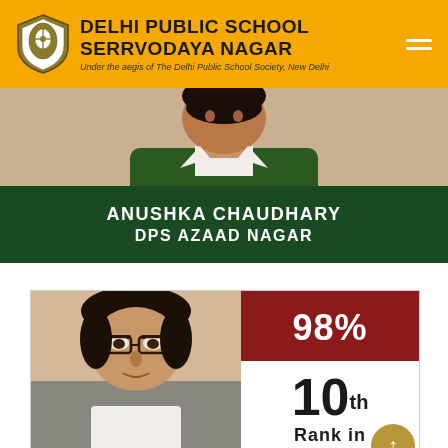DELHI PUBLIC SCHOOL SERRVODAYA NAGAR — Under the aegis of The Delhi Public School Society, New Delhi
[Figure (photo): Student photo of Anushka Chaudhary in school uniform with green blazer]
ANUSHKA CHAUDHARY
DPS AZAAD NAGAR
[Figure (photo): Student photo showing a young male student wearing glasses, with score badge showing 98% and 10th Rank in results]